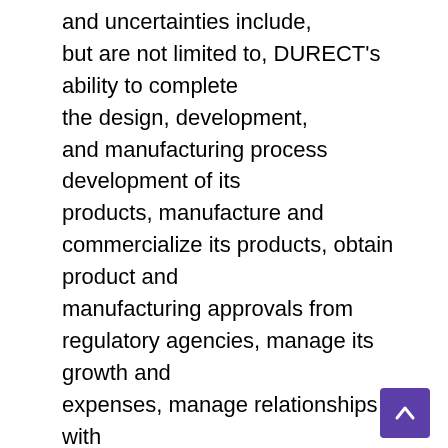and uncertainties include, but are not limited to, DURECT's ability to complete the design, development, and manufacturing process development of its products, manufacture and commercialize its products, obtain product and manufacturing approvals from regulatory agencies, manage its growth and expenses, manage relationships with third parties, finance its activities and operations, as well as marketplace acceptance of DURECT's products. Further information regarding these and other risks is included in DURECT's Annual Report on Form 10-K for the fiscal year ended December 31, 2003 filed with the SEC on